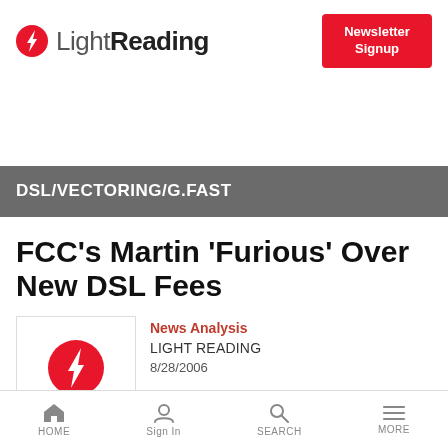LightReading | Newsletter Signup
DSL/VECTORING/G.FAST
FCC's Martin 'Furious' Over New DSL Fees
News Analysis
LIGHT READING
8/28/2006
HOME | Sign In | SEARCH | MORE